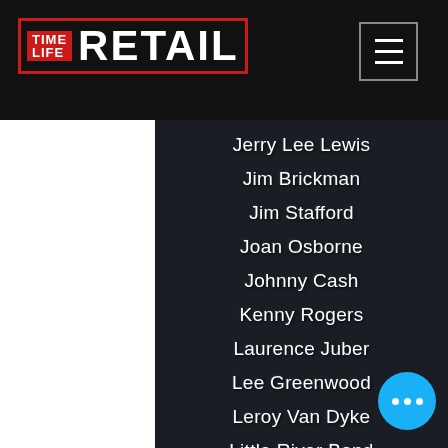[Figure (logo): Time Life Retail logo with red TIME LIFE box and white RETAIL text in black header bar]
Jerry Lee Lewis
Jim Brickman
Jim Stafford
Joan Osborne
Johnny Cash
Kenny Rogers
Laurence Juber
Lee Greenwood
Leroy Van Dyke
Little River Band
Lobo
Lonestar